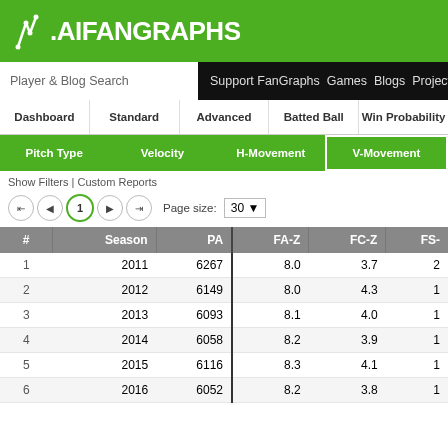FanGraphs
Player & Blog Search | Support FanGraphs Games Blogs Projectio...
Dashboard | Standard | Advanced | Batted Ball | Win Probability
Pitch Type | Velocity | H-Movement | V-Movement
Show Filters | Custom Reports
| # | Season | PA | FA-Z | FC-Z | FS- |
| --- | --- | --- | --- | --- | --- |
| 1 | 2011 | 6267 | 8.0 | 3.7 | 2 |
| 2 | 2012 | 6149 | 8.0 | 4.3 | 1 |
| 3 | 2013 | 6093 | 8.1 | 4.0 | 1 |
| 4 | 2014 | 6058 | 8.2 | 3.9 | 1 |
| 5 | 2015 | 6116 | 8.3 | 4.1 | 1 |
| 6 | 2016 | 6052 | 8.2 | 3.8 | 1 |